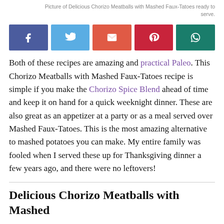Picture of Delicious Chorizo Meatballs with Mashed Faux-Tatoes ready to serve.
[Figure (other): Social sharing buttons: Facebook, Twitter, Email, Pinterest, WhatsApp]
Both of these recipes are amazing and practical Paleo. This Chorizo Meatballs with Mashed Faux-Tatoes recipe is simple if you make the Chorizo Spice Blend ahead of time and keep it on hand for a quick weeknight dinner. These are also great as an appetizer at a party or as a meal served over Mashed Faux-Tatoes. This is the most amazing alternative to mashed potatoes you can make. My entire family was fooled when I served these up for Thanksgiving dinner a few years ago, and there were no leftovers!
Delicious Chorizo Meatballs with Mashed